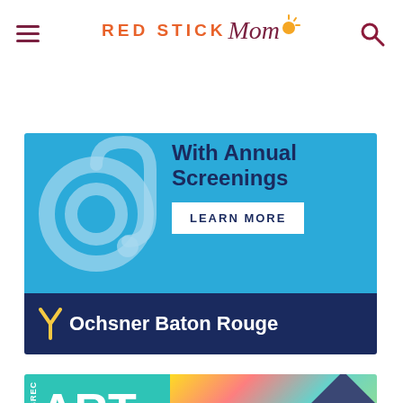RED STICK Mom
[Figure (illustration): Ochsner Baton Rouge advertisement. Top section in light blue with stethoscope graphic and text 'With Annual Screenings' and 'LEARN MORE' button. Bottom section in dark navy blue with Ochsner Baton Rouge branding.]
[Figure (illustration): BREC Art Saturday Morning Studio advertisement. Top section with teal background showing 'ART' and colorful art supplies. Bottom green section with 'Saturday Morning STUDIO' text.]